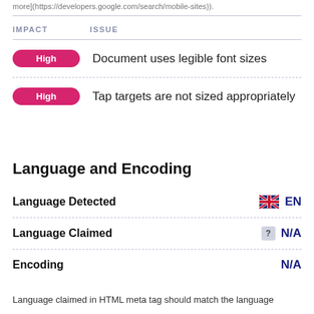more](https://developers.google.com/search/mobile-sites)).
| IMPACT | ISSUE |
| --- | --- |
| High | Document uses legible font sizes |
| High | Tap targets are not sized appropriately |
Language and Encoding
|  |  |
| --- | --- |
| Language Detected | 🇬🇧 EN |
| Language Claimed | ? N/A |
| Encoding | N/A |
Language claimed in HTML meta tag should match the language